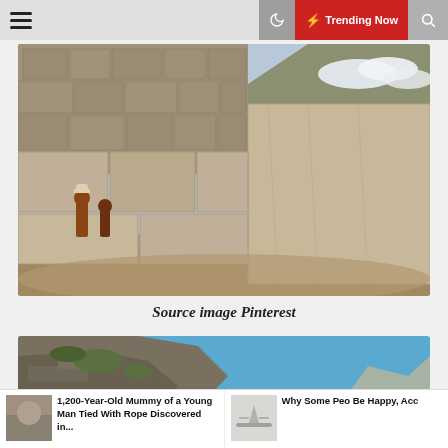≡  🌙  ⚡ Trending Now  🔍
[Figure (photo): Ancient Incan stone wall with massive fitted granite blocks, two people visible at left, mountains and blue sky in background]
Source image Pinterest
[Figure (photo): Rocky cliff face against a blue sky, partially visible]
1,200-Year-Old Mummy of a Young Man Tied With Rope Discovered in...
Why Some Peo Be Happy, Acc